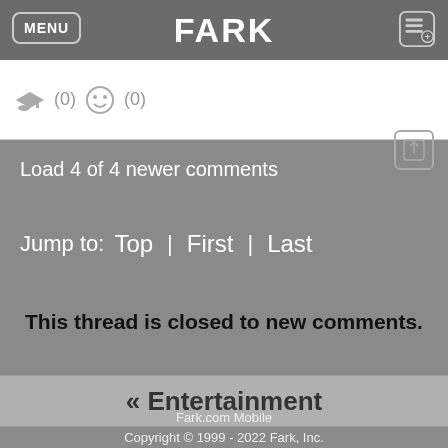MENU | FARK
(0)  (0)
Load 4 of 4 newer comments
Jump to:  Top  |  First  |  Last
This thread is closed to new comments.
« Entertainment
Fark.com Mobile
Copyright © 1999 - 2022 Fark, Inc.